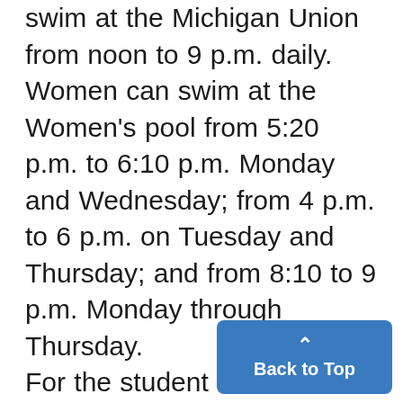swim at the Michigan Union from noon to 9 p.m. daily. Women can swim at the Women's pool from 5:20 p.m. to 6:10 p.m. Monday and Wednesday; from 4 p.m. to 6 p.m. on Tuesday and Thursday; and from 8:10 to 9 p.m. Monday through Thursday. For the student who craves a more intellectual form of relaxation, pool, billiards, and chess are offered at the Union. For the new, and older student the campus itself offers many a traction. And it has some of the